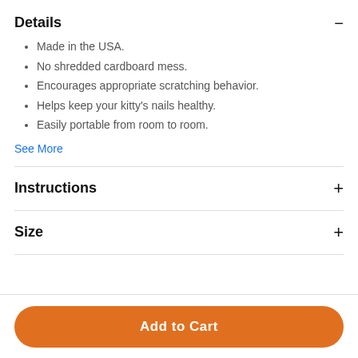Details
Made in the USA.
No shredded cardboard mess.
Encourages appropriate scratching behavior.
Helps keep your kitty's nails healthy.
Easily portable from room to room.
See More
Instructions
Size
Add to Cart